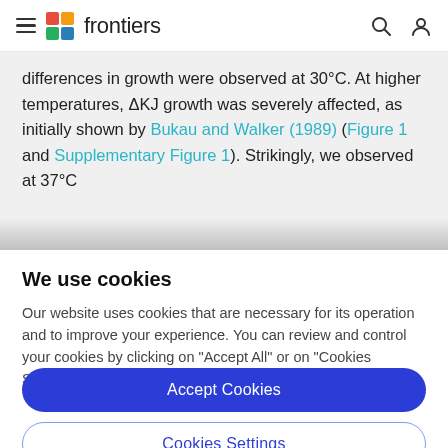frontiers (navigation bar with hamburger menu, logo, search and user icons)
differences in growth were observed at 30°C. At higher temperatures, ΔKJ growth was severely affected, as initially shown by Bukau and Walker (1989) (Figure 1 and Supplementary Figure 1). Strikingly, we observed at 37°C
We use cookies
Our website uses cookies that are necessary for its operation and to improve your experience. You can review and control your cookies by clicking on "Accept All" or on "Cookies Settings".
Accept Cookies
Cookies Settings